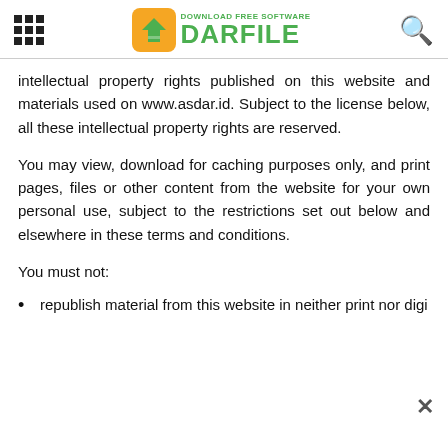DARFILE - Download Free Software
intellectual property rights published on this website and materials used on www.asdar.id. Subject to the license below, all these intellectual property rights are reserved.
You may view, download for caching purposes only, and print pages, files or other content from the website for your own personal use, subject to the restrictions set out below and elsewhere in these terms and conditions.
You must not:
republish material from this website in neither print nor digi